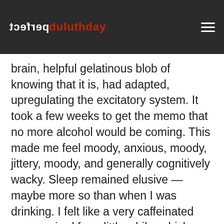perfect duluthday
brain, helpful gelatinous blob of knowing that it is, had adapted, upregulating the excitatory system. It took a few weeks to get the memo that no more alcohol would be coming. This made me feel moody, anxious, moody, jittery, moody, and generally cognitively wacky. Sleep remained elusive — maybe more so than when I was drinking. I felt like a very caffeinated emo squirrel for a little while, which was not fun, but not terrible enough to make me reduce my sugar intake or seek additional help. The most intense downside of this state was how it intersected with the enormous pile of unprocessed shit I had accumulated by drinking about things for so long without ever really thinking about them. Suddenly I had all this time —